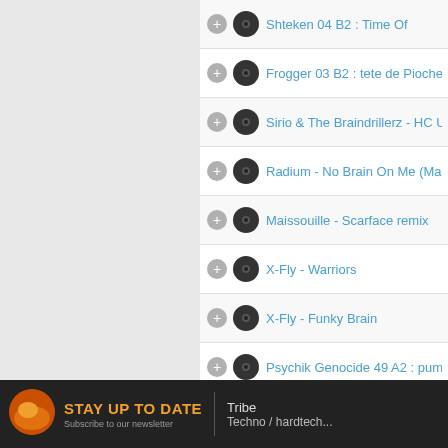Shteken 04 B2 : Time Of
Frogger 03 B2 : tete de Pioche
Sirio & The Braindrillerz - HC Undergr...
Radium - No Brain On Me (Maissouille...
Maissouille - Scarface remix
X-Fly - Warriors
X-Fly - Funky Brain
Psychik Genocide 49 A2 : pump on the...
Psychik Genocide 49 B1 : satisfied or...
Psychik Genocide 49 B2 : sex drug fre...
Pattern J - Blast Off
Taser 07 A1 : track 1
Taser 07 A2 : track 2
Taser 07 B2 : track 2
STAY UP TO DATE
Tribe
Techno / hardtech...